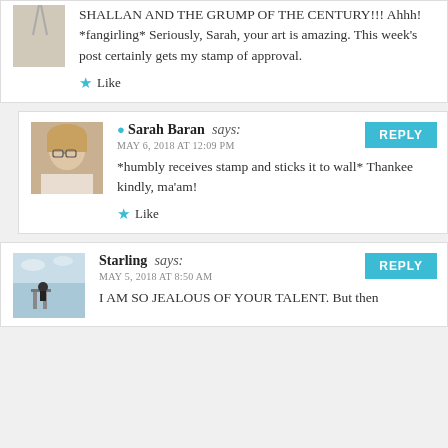SHALLAN AND THE GRUMP OF THE CENTURY!!! Ahhh! *fangirling* Seriously, Sarah, your art is amazing. This week’s post certainly gets my stamp of approval.
★ Like
Sarah Baran says:
MAY 6, 2018 AT 12:09 PM
*humbly receives stamp and sticks it to wall* Thankee kindly, ma’am!
★ Like
Starling says:
MAY 5, 2018 AT 8:50 AM
I AM SO JEALOUS OF YOUR TALENT. But then